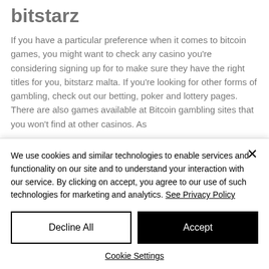bitstarz
If you have a particular preference when it comes to bitcoin games, you might want to check any casino you're considering signing up for to make sure they have the right titles for you, bitstarz malta. If you're looking for other forms of gambling, check out our betting, poker and lottery pages. There are also games available at Bitcoin gambling sites that you won't find at other casinos. As
We use cookies and similar technologies to enable services and functionality on our site and to understand your interaction with our service. By clicking on accept, you agree to our use of such technologies for marketing and analytics. See Privacy Policy
Decline All
Accept
Cookie Settings